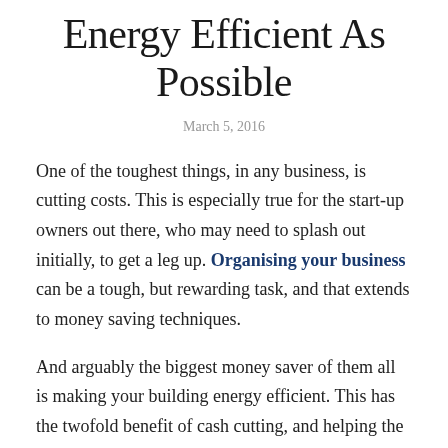Energy Efficient As Possible
March 5, 2016
One of the toughest things, in any business, is cutting costs. This is especially true for the start-up owners out there, who may need to splash out initially, to get a leg up. Organising your business can be a tough, but rewarding task, and that extends to money saving techniques.
And arguably the biggest money saver of them all is making your building energy efficient. This has the twofold benefit of cash cutting, and helping the environment. Your business will look more reputable, and you may attract clients who value eco-friendliness.